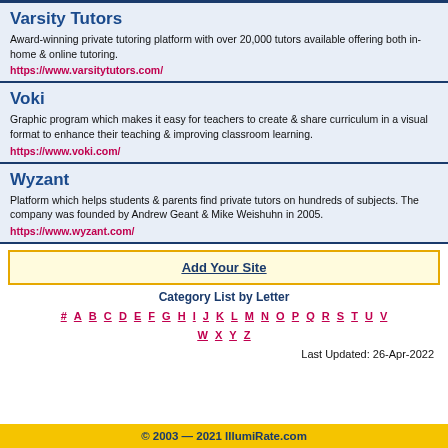Varsity Tutors
Award-winning private tutoring platform with over 20,000 tutors available offering both in-home & online tutoring.
https://www.varsitytutors.com/
Voki
Graphic program which makes it easy for teachers to create & share curriculum in a visual format to enhance their teaching & improving classroom learning.
https://www.voki.com/
Wyzant
Platform which helps students & parents find private tutors on hundreds of subjects. The company was founded by Andrew Geant & Mike Weishuhn in 2005.
https://www.wyzant.com/
Add Your Site
Category List by Letter
# A B C D E F G H I J K L M N O P Q R S T U V W X Y Z
Last Updated: 26-Apr-2022
© 2003 — 2021 IllumiRate.com